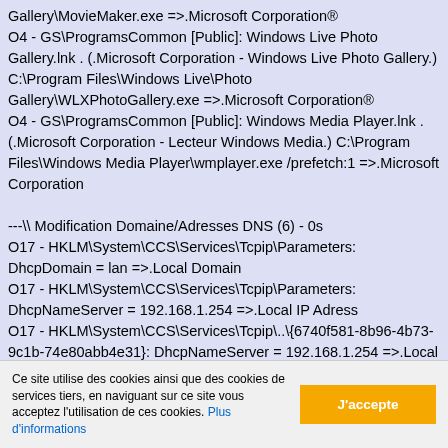Gallery\MovieMaker.exe =>.Microsoft Corporation® O4 - GS\ProgramsCommon [Public]: Windows Live Photo Gallery.lnk . (.Microsoft Corporation - Windows Live Photo Gallery.) C:\Program Files\Windows Live\Photo Gallery\WLXPhotoGallery.exe =>.Microsoft Corporation® O4 - GS\ProgramsCommon [Public]: Windows Media Player.lnk . (.Microsoft Corporation - Lecteur Windows Media.) C:\Program Files\Windows Media Player\wmplayer.exe /prefetch:1 =>.Microsoft Corporation

---\\ Modification Domaine/Adresses DNS (6) - 0s
O17 - HKLM\System\CCS\Services\Tcpip\Parameters: DhcpDomain = lan =>.Local Domain
O17 - HKLM\System\CCS\Services\Tcpip\Parameters: DhcpNameServer = 192.168.1.254 =>.Local IP Adress
O17 - HKLM\System\CCS\Services\Tcpip\..\{6740f581-8b96-4b73-9c1b-74e80abb4e31}: DhcpNameServer = 192.168.1.254 =>.Local IP Adress
O17 - HKLM\System\CCS\Services\Tcpip\..\{86af2522-ccd3-...
Ce site utilise des cookies ainsi que des cookies de services tiers, en naviguant sur ce site vous acceptez l'utilisation de ces cookies. Plus d'informations